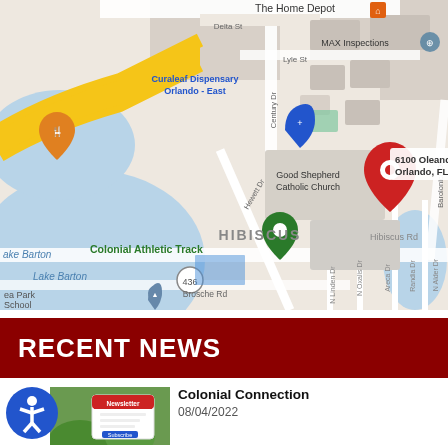[Figure (map): Google Maps screenshot showing area around 6100 Oleander, Orlando, FL. Shows landmarks including The Home Depot, Curaleaf Dispensary Orlando-East, MAX Inspections, Good Shepherd Catholic Church, Colonial Athletic Track (green pin), Lake Barton, Hibiscus neighborhood, Brosche Rd, and other local streets. Red location pin marks 6100 Oleander, Orlando, FL.]
RECENT NEWS
[Figure (illustration): Blue circular accessibility icon (person with arms raised) and a newsletter subscribe image thumbnail]
Colonial Connection
08/04/2022